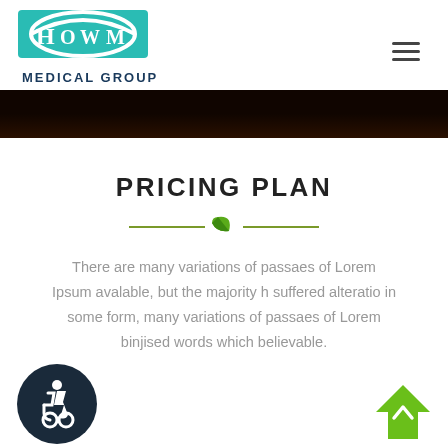HOWM MEDICAL GROUP
[Figure (illustration): Dark brown/black banner image strip]
PRICING PLAN
[Figure (illustration): Green leaf divider with horizontal lines]
There are many variations of passaes of Lorem Ipsum avalable, but the majority h suffered alteratio in some form, many variations of passaes of Lorem binjised words which believable.
[Figure (illustration): Dark navy circle with wheelchair accessibility icon]
[Figure (illustration): Green diamond shape with upward chevron arrow]